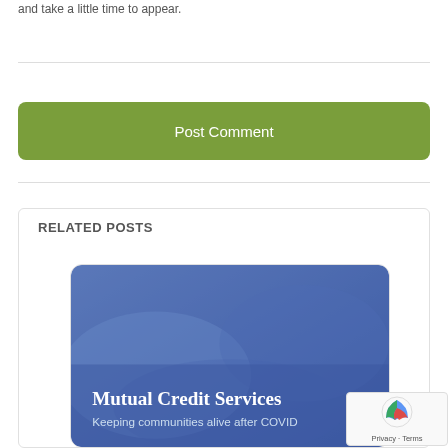and take a little time to appear.
[Figure (other): Post Comment button - green rounded rectangle]
RELATED POSTS
[Figure (illustration): Card image showing hands with blue overlay, titled 'Mutual Credit Services' with subtitle 'Keeping communities alive after COVID']